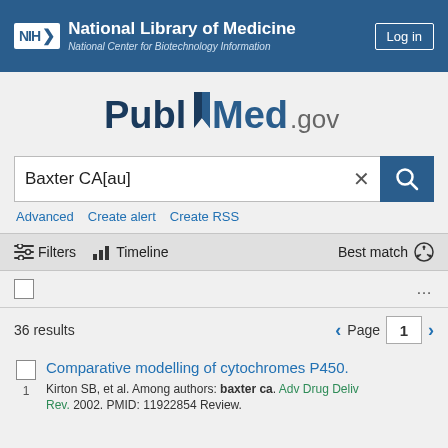NIH National Library of Medicine National Center for Biotechnology Information | Log in
[Figure (logo): PubMed.gov logo with bookmark icon]
Baxter CA[au]
Advanced  Create alert  Create RSS
Filters  Timeline  Best match
36 results  Page 1
Comparative modelling of cytochromes P450.
Kirton SB, et al. Among authors: baxter ca. Adv Drug Deliv Rev. 2002. PMID: 11922854 Review.